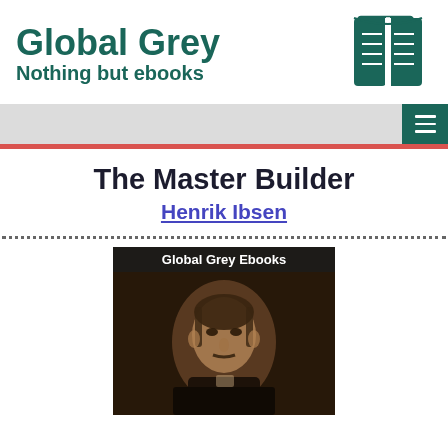Global Grey
Nothing but ebooks
[Figure (logo): Global Grey open book logo in teal/dark green]
[Figure (screenshot): Navigation bar with hamburger menu button]
The Master Builder
Henrik Ibsen
[Figure (photo): Cover image for The Master Builder ebook showing a portrait painting of a man with a mustache on a dark background, with 'Global Grey Ebooks' label at top]